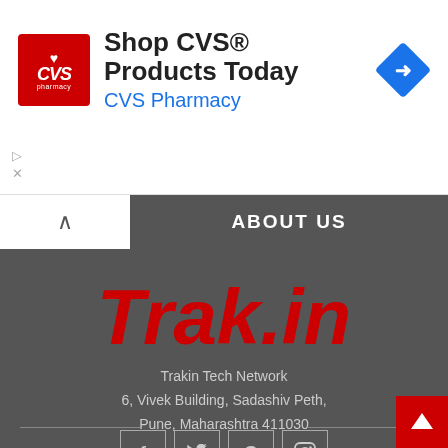[Figure (screenshot): CVS Pharmacy advertisement banner with logo, 'Shop CVS® Products Today' heading, 'CVS Pharmacy' subtitle in blue, and a blue diamond navigation icon on the right.]
ABOUT US
Trak.in
Trakin Tech Network
6, Vivek Building, Sadashiv Peth,
Pune, Maharashtra 411030
[Figure (infographic): Social media icons: Facebook (f), Twitter (bird), Google (G), Instagram (camera) in square bordered boxes]
[Figure (other): Back to top button - red square with white upward arrow]